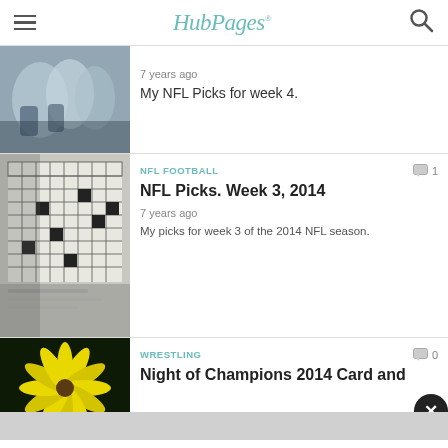HubPages
[Figure (photo): Close-up photo of NFL football gloves/hands]
7 years ago
My NFL Picks for week 4.
[Figure (photo): Close-up photo of a crossword puzzle book]
NFL FOOTBALL
1
NFL Picks. Week 3, 2014
7 years ago
My picks for week 3 of the 2014 NFL season.
[Figure (photo): Close-up photo of a yellow flower against dark background]
WRESTLING
0
Night of Champions 2014 Card and